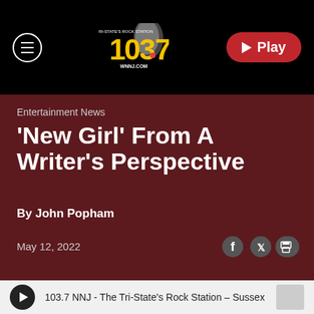[Figure (logo): 103.7 WNNJ radio station logo with 'THE TRI-STATE'S ROCK STATION' and 'WNNJ.COM' text on dark background with navigation header including menu button and Play button]
Entertainment News
'New Girl' From A Writer's Perspective
By John Popham
May 12, 2022
103.7 NNJ - The Tri-State's Rock Station – Sussex